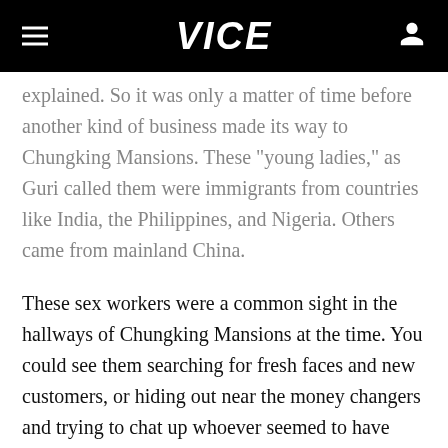VICE
explained. So it was only a matter of time before another kind of business made its way to Chungking Mansions. These "young ladies," as Guri called them were immigrants from countries like India, the Philippines, and Nigeria. Others came from mainland China.
These sex workers were a common sight in the hallways of Chungking Mansions at the time. You could see them searching for fresh faces and new customers, or hiding out near the money changers and trying to chat up whoever seemed to have some Hong Kong Dollars to burn.